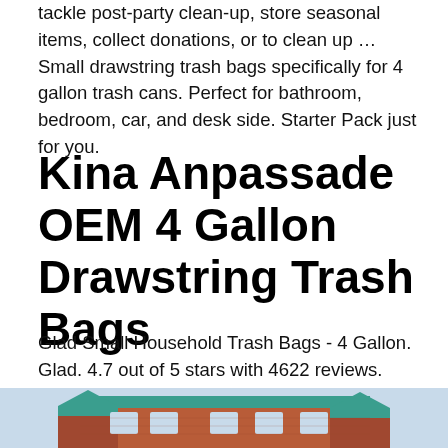tackle post-party clean-up, store seasonal items, collect donations, or to clean up … Small drawstring trash bags specifically for 4 gallon trash cans. Perfect for bathroom, bedroom, car, and desk side. Starter Pack just for you.
Kina Anpassade OEM 4 Gallon Drawstring Trash Bags
Glad Small Household Trash Bags - 4 Gallon. Glad. 4.7 out of 5 stars with 4622 reviews.
[Figure (photo): Partial view of a brick building with a teal/turquoise roof trim and peaked architectural details, cropped at the bottom of the page.]